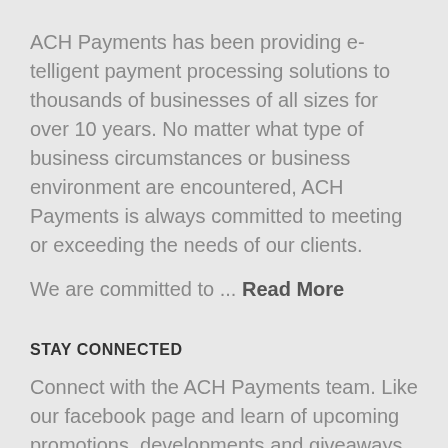ACH Payments has been providing e-telligent payment processing solutions to thousands of businesses of all sizes for over 10 years. No matter what type of business circumstances or business environment are encountered, ACH Payments is always committed to meeting or exceeding the needs of our clients.
We are committed to ... Read More
STAY CONNECTED
Connect with the ACH Payments team. Like our facebook page and learn of upcoming promotions, developments and giveaways that won't be posted here...
CONNECT TODAY
[Figure (infographic): Four social media icon buttons: Twitter (bird icon), Facebook (f icon), Google+ (g+ icon), RSS feed icon]